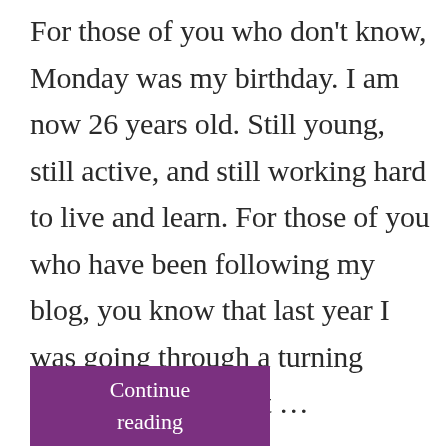For those of you who don't know, Monday was my birthday. I am now 26 years old. Still young, still active, and still working hard to live and learn. For those of you who have been following my blog, you know that last year I was going through a turning point in my life, that ...
Continue reading